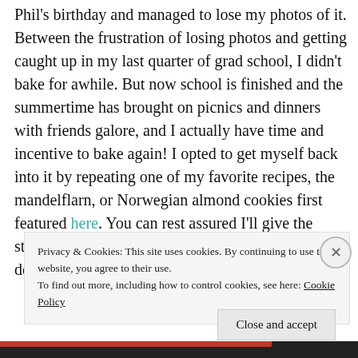Phil's birthday and managed to lose my photos of it. Between the frustration of losing photos and getting caught up in my last quarter of grad school, I didn't bake for awhile. But now school is finished and the summertime has brought on picnics and dinners with friends galore, and I actually have time and incentive to bake again! I opted to get myself back into it by repeating one of my favorite recipes, the mandelflarn, or Norwegian almond cookies first featured here. You can rest assured I'll give the strawberry tart another go, because it was quite delicious and it has merit in of...
Privacy & Cookies: This site uses cookies. By continuing to use this website, you agree to their use.
To find out more, including how to control cookies, see here: Cookie Policy